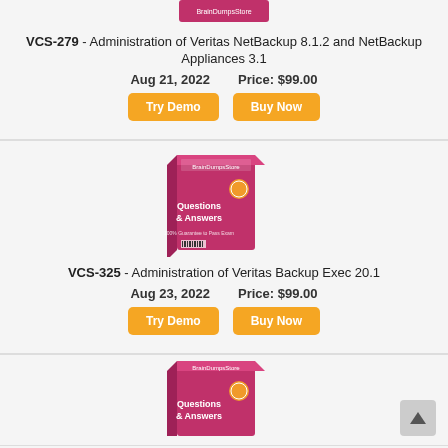[Figure (illustration): BrainDumpsStore Q&A product box (pink/magenta) partially visible at top]
VCS-279 - Administration of Veritas NetBackup 8.1.2 and NetBackup Appliances 3.1
Aug 21, 2022   Price: $99.00
Try Demo | Buy Now
[Figure (illustration): BrainDumpsStore Q&A product box (pink/magenta) - VCS-325]
VCS-325 - Administration of Veritas Backup Exec 20.1
Aug 23, 2022   Price: $99.00
Try Demo | Buy Now
[Figure (illustration): BrainDumpsStore Q&A product box (pink/magenta) - third product, partially visible at bottom]